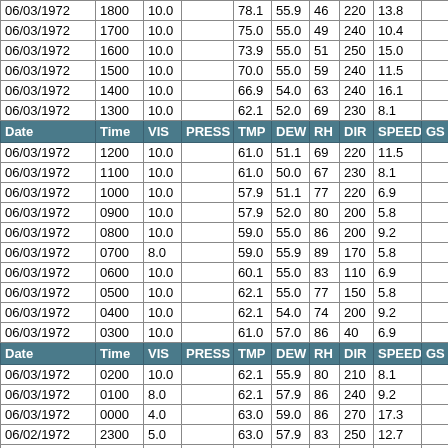| Date | Time | VIS | PRESS | TMP | DEW | RH | DIR | SPEED | GS |
| --- | --- | --- | --- | --- | --- | --- | --- | --- | --- |
| 06/03/1972 | 1800 | 10.0 |  | 78.1 | 55.9 | 46 | 220 | 13.8 |  |
| 06/03/1972 | 1700 | 10.0 |  | 75.0 | 55.0 | 49 | 240 | 10.4 |  |
| 06/03/1972 | 1600 | 10.0 |  | 73.9 | 55.0 | 51 | 250 | 15.0 |  |
| 06/03/1972 | 1500 | 10.0 |  | 70.0 | 55.0 | 59 | 240 | 11.5 |  |
| 06/03/1972 | 1400 | 10.0 |  | 66.9 | 54.0 | 63 | 240 | 16.1 |  |
| 06/03/1972 | 1300 | 10.0 |  | 62.1 | 52.0 | 69 | 230 | 8.1 |  |
| HEADER | Date | Time | VIS | PRESS | TMP | DEW | RH | DIR | SPEED | GS |
| 06/03/1972 | 1200 | 10.0 |  | 61.0 | 51.1 | 69 | 220 | 11.5 |  |
| 06/03/1972 | 1100 | 10.0 |  | 61.0 | 50.0 | 67 | 230 | 8.1 |  |
| 06/03/1972 | 1000 | 10.0 |  | 57.9 | 51.1 | 77 | 220 | 6.9 |  |
| 06/03/1972 | 0900 | 10.0 |  | 57.9 | 52.0 | 80 | 200 | 5.8 |  |
| 06/03/1972 | 0800 | 10.0 |  | 59.0 | 55.0 | 86 | 200 | 9.2 |  |
| 06/03/1972 | 0700 | 8.0 |  | 59.0 | 55.9 | 89 | 170 | 5.8 |  |
| 06/03/1972 | 0600 | 10.0 |  | 60.1 | 55.0 | 83 | 110 | 6.9 |  |
| 06/03/1972 | 0500 | 10.0 |  | 62.1 | 55.0 | 77 | 150 | 5.8 |  |
| 06/03/1972 | 0400 | 10.0 |  | 62.1 | 54.0 | 74 | 200 | 9.2 |  |
| 06/03/1972 | 0300 | 10.0 |  | 61.0 | 57.0 | 86 | 40 | 6.9 |  |
| HEADER | Date | Time | VIS | PRESS | TMP | DEW | RH | DIR | SPEED | GS |
| 06/03/1972 | 0200 | 10.0 |  | 62.1 | 55.9 | 80 | 210 | 8.1 |  |
| 06/03/1972 | 0100 | 8.0 |  | 62.1 | 57.9 | 86 | 240 | 9.2 |  |
| 06/03/1972 | 0000 | 4.0 |  | 63.0 | 59.0 | 86 | 270 | 17.3 |  |
| 06/02/1972 | 2300 | 5.0 |  | 63.0 | 57.9 | 83 | 250 | 12.7 |  |
| 06/03/1972 | 2200 | 10.0 |  | 73.9 | 55.0 | 51 | 260 | 15.0 |  |